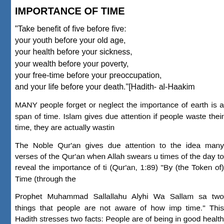IMPORTANCE OF TIME
"Take benefit of five before five: your youth before your old age, your health before your sickness, your wealth before your poverty, your free-time before your preoccupation, and your life before your death."[Hadith- al-Haakim
MANY people forget or neglect the importance of earth is a span of time. Islam gives due attention if people waste their time, they are actually wastin
The Noble Qur'an gives due attention to the idea many verses of the Qur'an when Allah swears u times of the day to reveal the importance of ti (Qur'an, 1:89) "By (the Token of) Time (through the
Prophet Muhammad Sallallahu Alyhi Wa Sallam sa two things that people are not aware of how imp time." This Hadith stresses two facts: People are of being in good health till they fall ill and p importance of time and therefore waste their time